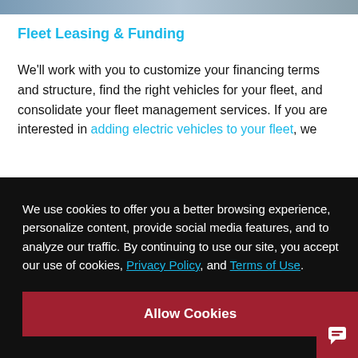[Figure (photo): Top image strip showing a partial photograph, mostly cropped]
Fleet Leasing & Funding
We'll work with you to customize your financing terms and structure, find the right vehicles for your fleet, and consolidate your fleet management services. If you are interested in adding electric vehicles to your fleet, we
We use cookies to offer you a better browsing experience, personalize content, provide social media features, and to analyze our traffic. By continuing to use our site, you accept our use of cookies, Privacy Policy, and Terms of Use.
Allow Cookies
ccurs,
s